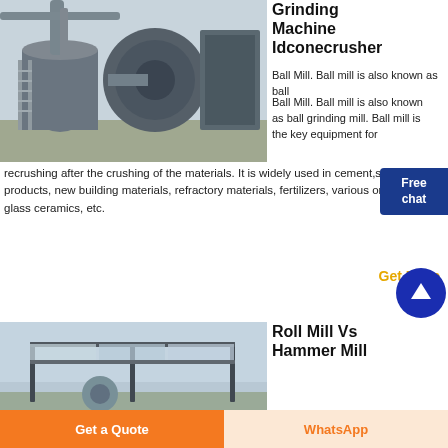[Figure (photo): Industrial grinding/milling machinery with large cylindrical components at an outdoor facility]
Grinding Machine Idconecrusher
Ball Mill. Ball mill is also known as ball grinding mill. Ball mill is the key equipment for recrushing after the crushing of the materials. It is widely used in cement, silicate products, new building materials, refractory materials, fertilizers, various ores and glass ceramics, etc.
Get...
[Figure (photo): Metal structure frame for industrial mill equipment outdoors]
Roll Mill Vs Hammer Mill
Ball Mill. Ball mill is also known as ball
Get a Quote
WhatsApp